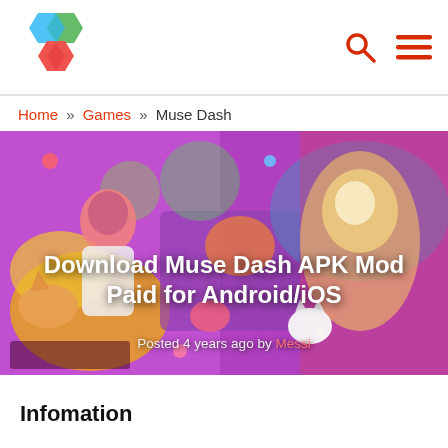Logo | Search | Menu
Home » Games » Muse Dash
[Figure (illustration): Colorful anime-style promotional artwork for Muse Dash game featuring two characters on a vibrant purple/yellow background. Title text overlay reads 'Download Muse Dash APK Mod Paid for Android/iOS' and subtext 'Posted 4 years ago by Messi'.]
Infomation